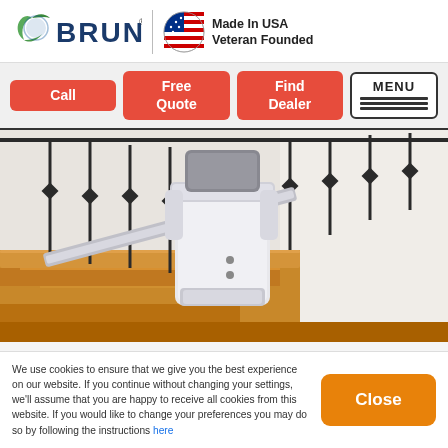[Figure (logo): Bruno logo with green swoosh and dark blue BRUNO text, Made In USA Veteran Founded badge with American flag circle]
[Figure (other): Three red navigation buttons: Call, Free Quote, Find Dealer; and a MENU button with hamburger lines]
[Figure (photo): Stairlift chair on wooden staircase with iron baluster railing, white stairlift unit folded at bottom of stairs]
We use cookies to ensure that we give you the best experience on our website. If you continue without changing your settings, we'll assume that you are happy to receive all cookies from this website. If you would like to change your preferences you may do so by following the instructions here